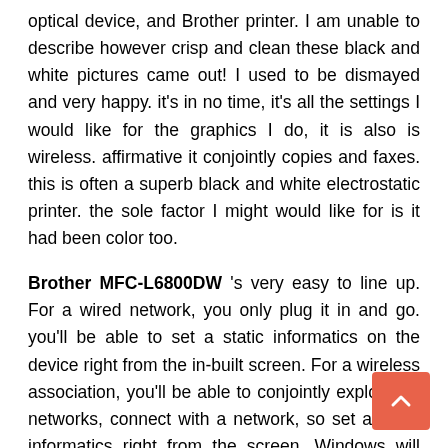optical device, and Brother printer. I am unable to describe however crisp and clean these black and white pictures came out! I used to be dismayed and very happy. it's in no time, it's all the settings I would like for the graphics I do, it is also is wireless. affirmative it conjointly copies and faxes. this is often a superb black and white electrostatic printer. the sole factor I might would like for is it had been color too.
Brother MFC-L6800DW 's very easy to line up. For a wired network, you only plug it in and go. you'll be able to set a static informatics on the device right from the in-built screen. For a wireless association, you'll be able to conjointly explore for networks, connect with a network, so set a static informatics right from the screen. Windows will realize the a printer driver w not the disk too.